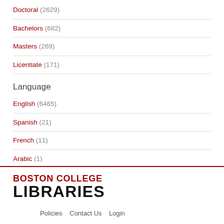Doctoral (2629)
Bachelors (682)
Masters (269)
Licentiate (171)
Language
English (6465)
Spanish (21)
French (11)
Arabic (1)
German (1)
Italian (1)
[Figure (logo): Boston College Libraries logo with red 'BOSTON COLLEGE' text and black 'LIBRARIES' text]
Policies   Contact Us   Login